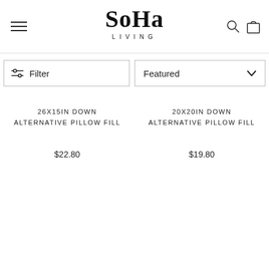SoHa LIVING
Filter
Featured
26X15IN DOWN ALTERNATIVE PILLOW FILL
$22.80
20X20IN DOWN ALTERNATIVE PILLOW FILL
$19.80